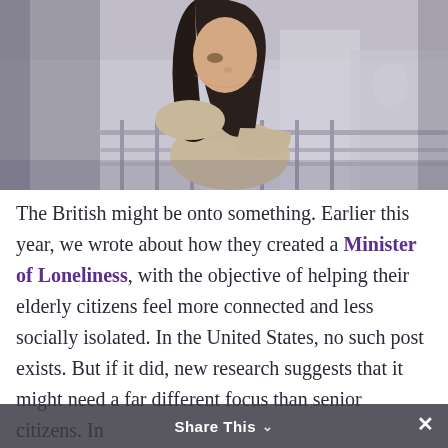[Figure (photo): A young woman with long dark hair leaning on a railing outdoors, looking downward with a melancholic expression. Background is blurred urban scenery with muted gray-blue tones.]
The British might be onto something. Earlier this year, we wrote about how they created a Minister of Loneliness, with the objective of helping their elderly citizens feel more connected and less socially isolated. In the United States, no such post exists. But if it did, new research suggests that it might need a far different focus than senior citizens. In America, it seems that younger adults the
Share This  ✕